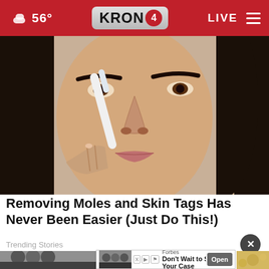56° KRON4 LIVE
[Figure (photo): Close-up photo of a woman applying something white/cream to the side of her nose with a brush or tool. She has dark hair and is looking slightly to the side.]
Removing Moles and Skin Tags Has Never Been Easier (Just Do This!)
Trending Stories
[Figure (screenshot): Advertisement banner from Forbes showing a group of people in suits with text 'Don't Wait to Start Your Case' and an 'Open' button.]